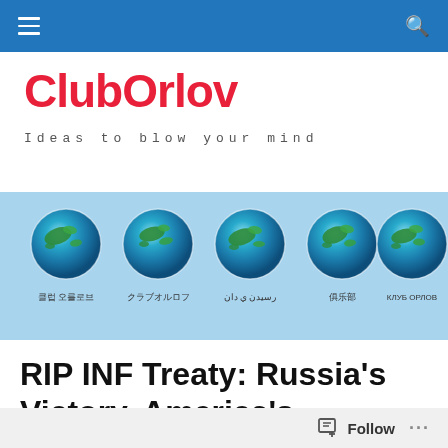ClubOrlov navigation bar
ClubOrlov
Ideas to blow your mind
[Figure (illustration): Banner with five globe icons showing island imagery, each labeled in a different language: Korean (클럽 오를로브), Japanese (クラブオルロフ), Arabic (رسيدن ي دان), Chinese (俱乐部), Russian (КЛУБ ОРЛОВ)]
RIP INF Treaty: Russia's Victory, America's Waterloo
Follow ...